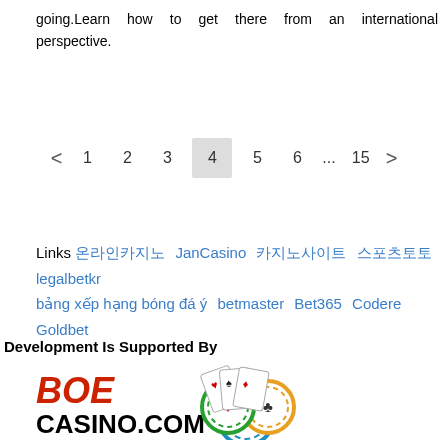going.Learn how to get there from an international perspective.
< 1 2 3 4 5 6 ... 15 >
Links 온라인카지노 JanCasino 카지노사이트 스포츠토토 legalbetkr bảng xếp hạng bóng đá ý betmaster Bet365 Codere Goldbet
Development Is Supported By
[Figure (logo): BOE CASINO.COM logo with casino chips]